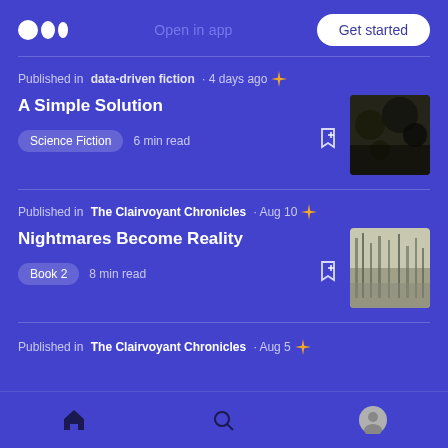Medium logo | Open in app | Get started
Published in data-driven fiction · 4 days ago
A Simple Solution
Science Fiction   6 min read
Published in The Clairvoyant Chronicles · Aug 10
Nightmares Become Reality
Book 2   8 min read
Published in The Clairvoyant Chronicles · Aug 5
Home | Search | Profile